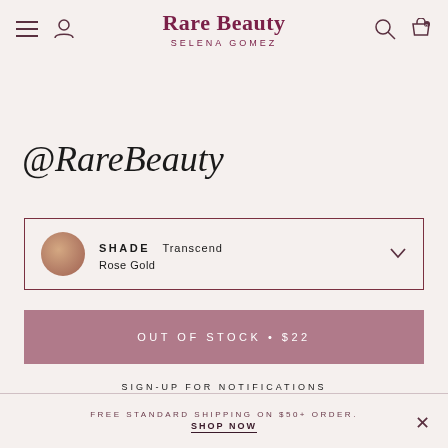Rare Beauty — SELENA GOMEZ
@RareBeauty
SHADE  Transcend  Rose Gold
OUT OF STOCK • $22
SIGN-UP FOR NOTIFICATIONS
4 interest-free payments of $5.50 with Klarna. Learn More
FREE STANDARD SHIPPING ON $50+ ORDER. SHOP NOW